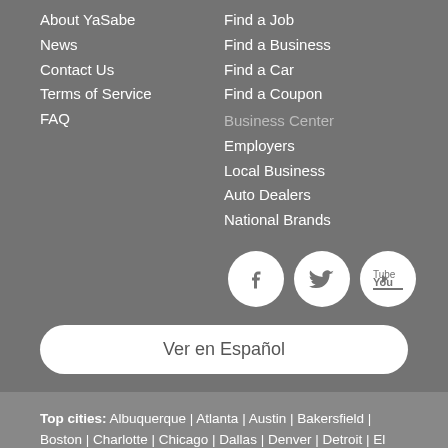About YaSabe
News
Contact Us
Terms of Service
FAQ
Find a Job
Find a Business
Find a Car
Find a Coupon
Business Center
Employers
Local Business
Auto Dealers
National Brands
[Figure (infographic): Social media icons: Facebook, Twitter, YouTube]
Ver en Español
Top cities: Albuquerque | Atlanta | Austin | Bakersfield | Boston | Charlotte | Chicago | Dallas | Denver | Detroit | El Paso | Fresno | Hialeah | Houston | Las Vegas | Los Angeles | McAllen | Miami | Minneapolis | New York